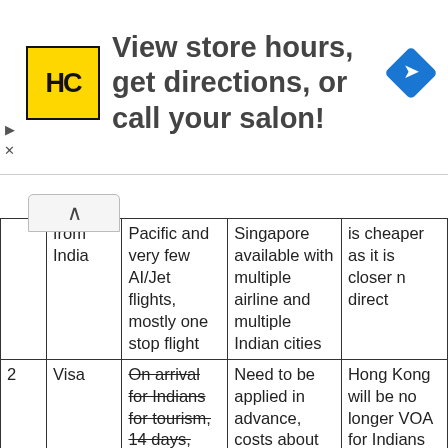[Figure (infographic): Advertisement banner: HC logo (yellow square with HC text), text 'View store hours, get directions, or call your salon!', blue navigation diamond icon on right, play and X icons on left.]
|  |  | Thailand | Singapore | Hong Kong |
| --- | --- | --- | --- | --- |
|  | from India | Pacific and very few AI/Jet flights, mostly one stop flight | Singapore available with multiple airline and multiple Indian cities | is cheaper as it is closer n direct |
| 2 | Visa | On arrival for Indians for tourism, 14 days, free | Need to be applied in advance, costs about 3-4k INR | Hong Kong will be no longer VOA for Indians from 2017. More details |